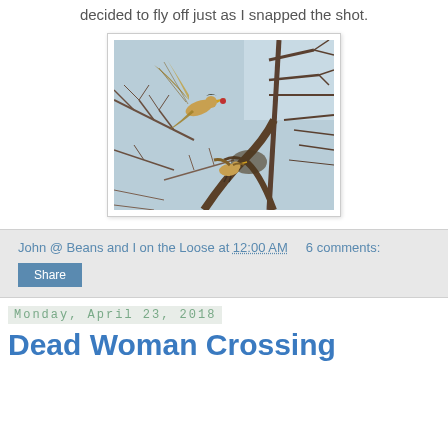decided to fly off just as I snapped the shot.
[Figure (photo): A bird in flight among bare winter tree branches against a light blue sky, with another bird perched on a branch below.]
John @ Beans and I on the Loose at 12:00 AM    6 comments:
Share
Monday, April 23, 2018
Dead Woman Crossing